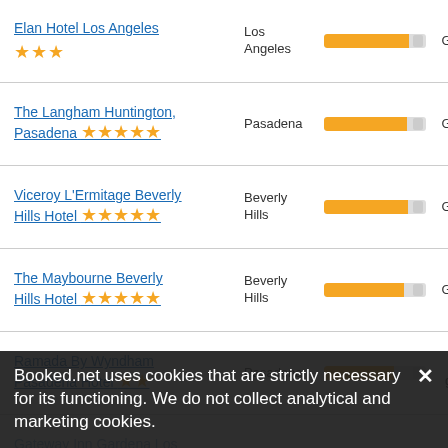Elan Hotel Los Angeles ★★★ | Los Angeles | Great
The Langham Huntington, Pasadena ★★★★★ | Pasadena | Great
Viceroy L'Ermitage Beverly Hills Hotel ★★★★★ | Beverly Hills | Great
The Maybourne Beverly Hills Hotel ★★★★★ | Beverly Hills | Great
Ramada By Wyndham Pasadena Hotel ★★ | Pasadena | Very good
Gateway Inn Gardena Los Angeles South ★★ | Gardena | Very good
(partial) ★★ | Los Angeles | Very good
Booked.net uses cookies that are strictly necessary for its functioning. We do not collect analytical and marketing cookies.